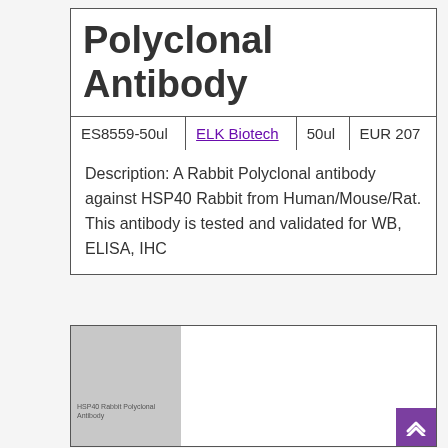Polyclonal Antibody
|  |  |  |  |
| --- | --- | --- | --- |
| ES8559-50ul | ELK Biotech | 50ul | EUR 207 |
Description: A Rabbit Polyclonal antibody against HSP40 Rabbit from Human/Mouse/Rat. This antibody is tested and validated for WB, ELISA, IHC
[Figure (photo): Product image thumbnail showing HSP40 Rabbit Polyclonal Antibody label on grey background panel, white area to the right]